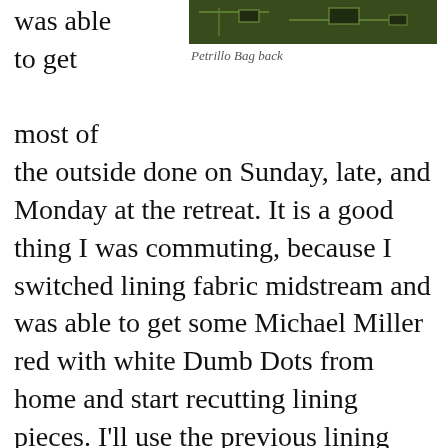[Figure (photo): Partial view of the back of a Petrillo Bag, showing dark green fabric with hardware, cropped at top of page.]
Petrillo Bag back
was able to get most of the outside done on Sunday, late, and Monday at the retreat. It is a good thing I was commuting, because I switched lining fabric midstream and was able to get some Michael Miller red with white Dumb Dots from home and start recutting lining pieces. I'll use the previous lining choice for another bag.
I got to the point Sunday night that I was ready to construct the gussets and on the drive home, I turned over the process in my head, so I really felt ready to tackle it on Monday when I returned to my sewing machine at the Retreat.